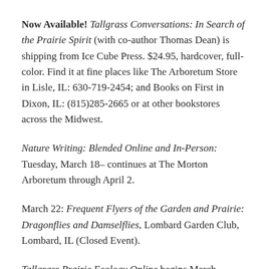Now Available! Tallgrass Conversations: In Search of the Prairie Spirit (with co-author Thomas Dean) is shipping from Ice Cube Press. $24.95, hardcover, full-color. Find it at fine places like The Arboretum Store in Lisle, IL: 630-719-2454; and Books on First in Dixon, IL: (815)285-2665 or at other bookstores across the Midwest.
Nature Writing: Blended Online and In-Person: Tuesday, March 18– continues at The Morton Arboretum through April 2.
March 22: Frequent Flyers of the Garden and Prairie: Dragonflies and Damselflies, Lombard Garden Club, Lombard, IL (Closed Event).
Tallgrass Prairie Ecology Online begins March